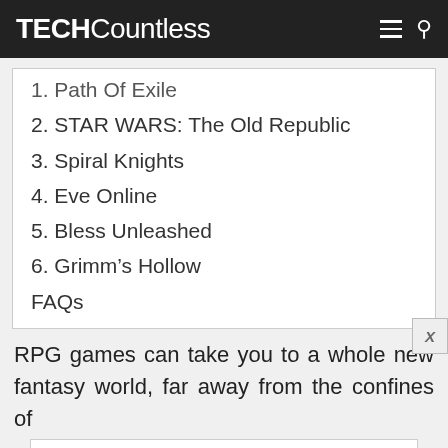TECHCountless
1. Path Of Exile
2. STAR WARS: The Old Republic
3. Spiral Knights
4. Eve Online
5. Bless Unleashed
6. Grimm’s Hollow
FAQs
RPG games can take you to a whole new fantasy world, far away from the confines of
[Figure (infographic): Advertisement banner: Shop Online, Pickup Today - World Market, with navigation arrow icon and small retailer logo]